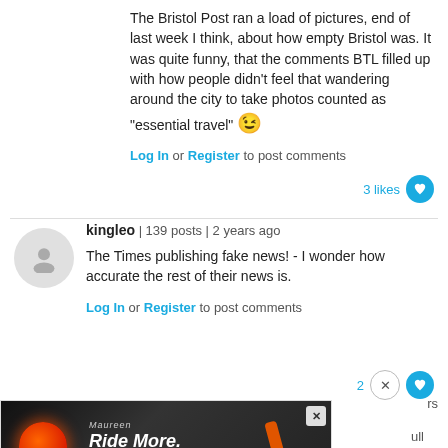The Bristol Post ran a load of pictures, end of last week I think, about how empty Bristol was.  It was quite funny, that the comments BTL filled up with how people didn't feel that wandering around the city to take photos counted as "essential travel" 😉
Log In or Register to post comments
3 likes
kingleo | 139 posts | 2 years ago
The Times publishing fake news! -  I wonder how accurate the rest of their news is.
Log In or Register to post comments
2
[Figure (screenshot): Advertisement banner: dark background with red glowing circular light element on left, orange pen/marker on right, text reading 'Ride More. Enjoy More' in white bold italic font, small brand text at top, close X button in top right corner.]